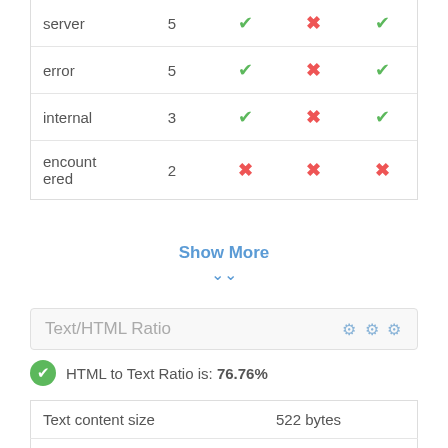|  |  |  |  |  |
| --- | --- | --- | --- | --- |
| server | 5 | ✓ | ✗ | ✓ |
| error | 5 | ✓ | ✗ | ✓ |
| internal | 3 | ✓ | ✗ | ✓ |
| encountered | 2 | ✗ | ✗ | ✗ |
Show More
Text/HTML Ratio
HTML to Text Ratio is: 76.76%
| Text content size | 522 bytes |
| Total HTML size | 680 bytes |